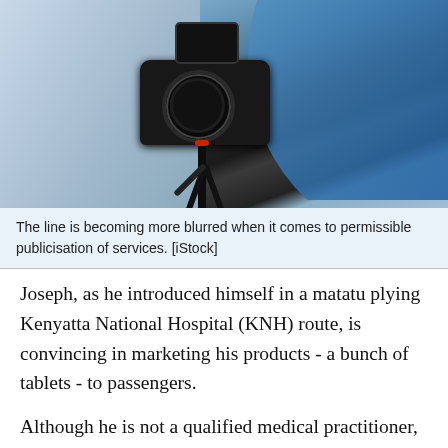[Figure (photo): A camera on a tripod in the foreground, with a person in a blue medical or casual garment blurred in the background, photographed on a table surface.]
The line is becoming more blurred when it comes to permissible publicisation of services. [iStock]
Joseph, as he introduced himself in a matatu plying Kenyatta National Hospital (KNH) route, is convincing in marketing his products - a bunch of tablets - to passengers.
Although he is not a qualified medical practitioner, he insists that the tablets can treat